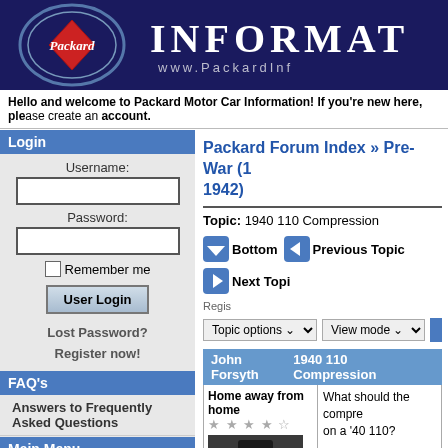[Figure (logo): Packard Information website header banner with Packard logo on dark navy background, text: INFORMAT and www.PackardInf]
Hello and welcome to Packard Motor Car Information! If you're new here, please create an account.
Login
Username:
Password:
Remember me
User Login
Lost Password?
Register now!
FAQ's
Answers to Frequently Asked Questions
Main Menu
Home
Forums
Packard Forum Index » Pre-War (1... 1942)
Topic: 1940 110 Compression
Bottom  Previous Topic  Next Topic  Regis...
Topic options  View mode
John Forsyth   1940 110 Compression
Home away from home
What should the compre... on a '40 110?
Also, I think I have an ex... I am getting a pop pop s... didn't have before. If I le...